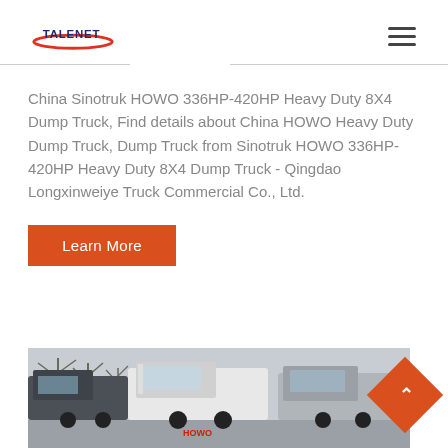TALENET logo and hamburger menu
China Sinotruk HOWO 336HP-420HP Heavy Duty 8X4 Dump Truck, Find details about China HOWO Heavy Duty Dump Truck, Dump Truck from Sinotruk HOWO 336HP-420HP Heavy Duty 8X4 Dump Truck - Qingdao Longxinweiye Truck Commercial Co., Ltd.
[Figure (other): Learn More button (orange/red CTA button)]
[Figure (photo): Photo of HOWO heavy duty dump trucks parked outdoors in winter, bare trees visible in background]